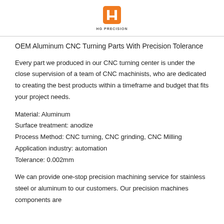[Figure (logo): HG PRECISION logo - orange square with white angular H symbol, text HG PRECISION below]
OEM Aluminum CNC Turning Parts With Precision Tolerance
Every part we produced in our CNC turning center is under the close supervision of a team of CNC machinists, who are dedicated to creating the best products within a timeframe and budget that fits your project needs.
Material: Aluminum
Surface treatment: anodize
Process Method: CNC turning, CNC grinding, CNC Milling
Application industry: automation
Tolerance: 0.002mm
We can provide one-stop precision machining service for stainless steel or aluminum to our customers. Our precision machines components are